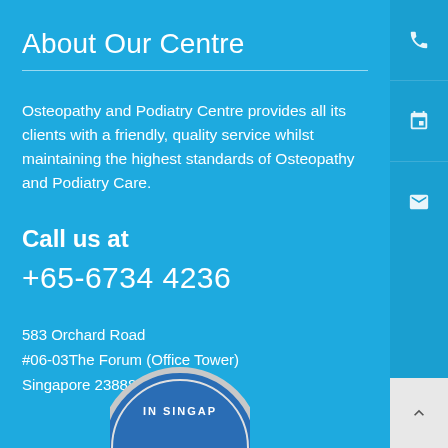About Our Centre
Osteopathy and Podiatry Centre provides all its clients with a friendly, quality service whilst maintaining the highest standards of Osteopathy and Podiatry Care.
Call us at
+65-6734 4236
583 Orchard Road
#06-03The Forum (Office Tower)
Singapore 238884
[Figure (logo): Circular badge/seal with text IN SINGAP visible, partially cropped at bottom of page]